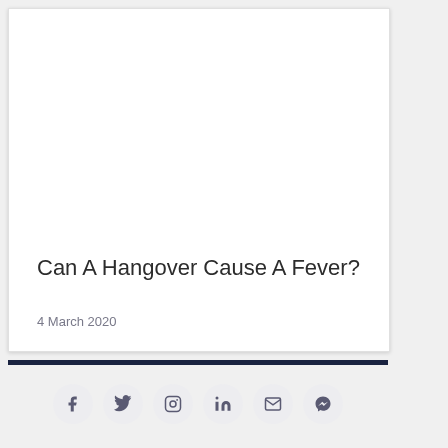[Figure (photo): White card with a blank/white image area at the top, article preview card]
Can A Hangover Cause A Fever?
4 March 2020
[Figure (infographic): Social media share icons: Facebook, Twitter, Instagram, LinkedIn, Email, Messenger]